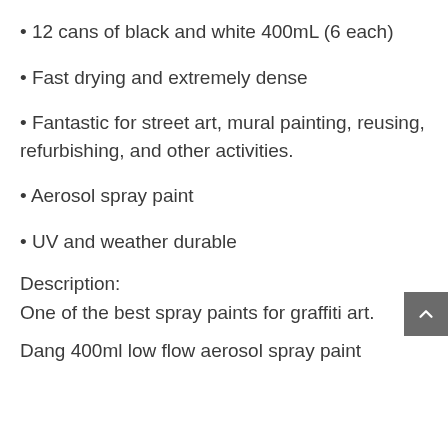12 cans of black and white 400mL (6 each)
Fast drying and extremely dense
Fantastic for street art, mural painting, reusing, refurbishing, and other activities.
Aerosol spray paint
UV and weather durable
Description:
One of the best spray paints for graffiti art.
Dang 400ml low flow aerosol spray paint